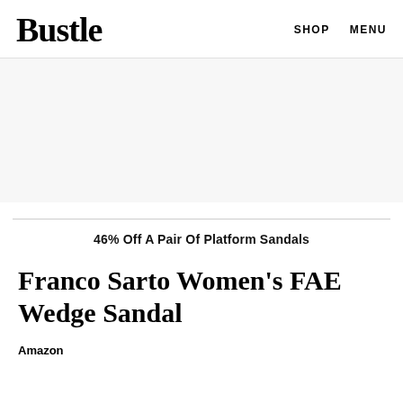Bustle   SHOP   MENU
[Figure (other): Light gray advertisement banner placeholder area]
46% Off A Pair Of Platform Sandals
Franco Sarto Women's FAE Wedge Sandal
Amazon